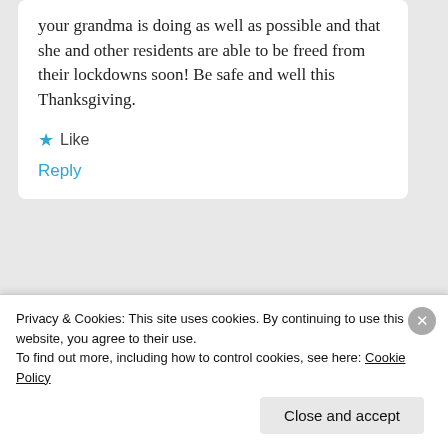your grandma is doing as well as possible and that she and other residents are able to be freed from their lockdowns soon! Be safe and well this Thanksgiving.
Like
Reply
Advertisements
[Figure (screenshot): DAY ONE app advertisement banner: The only journaling app you'll ever need.]
Privacy & Cookies: This site uses cookies. By continuing to use this website, you agree to their use.
To find out more, including how to control cookies, see here: Cookie Policy
Close and accept